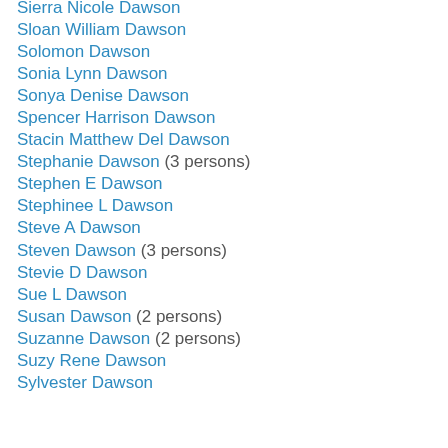Sierra Nicole Dawson
Sloan William Dawson
Solomon Dawson
Sonia Lynn Dawson
Sonya Denise Dawson
Spencer Harrison Dawson
Stacin Matthew Del Dawson
Stephanie Dawson (3 persons)
Stephen E Dawson
Stephinee L Dawson
Steve A Dawson
Steven Dawson (3 persons)
Stevie D Dawson
Sue L Dawson
Susan Dawson (2 persons)
Suzanne Dawson (2 persons)
Suzy Rene Dawson
Sylvester Dawson